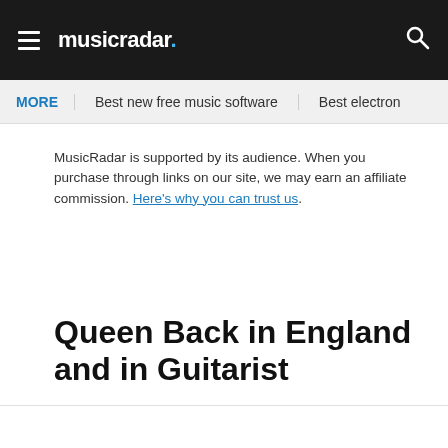musicradar.
MORE   Best new free music software   Best electron
MusicRadar is supported by its audience. When you purchase through links on our site, we may earn an affiliate commission. Here's why you can trust us.
Queen Back in England and in Guitarist